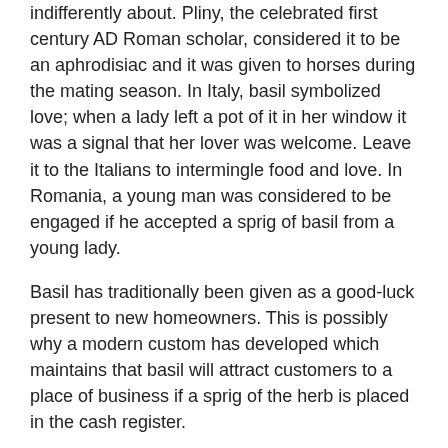indifferently about. Pliny, the celebrated first century AD Roman scholar, considered it to be an aphrodisiac and it was given to horses during the mating season. In Italy, basil symbolized love; when a lady left a pot of it in her window it was a signal that her lover was welcome. Leave it to the Italians to intermingle food and love. In Romania, a young man was considered to be engaged if he accepted a sprig of basil from a young lady.
Basil has traditionally been given as a good-luck present to new homeowners. This is possibly why a modern custom has developed which maintains that basil will attract customers to a place of business if a sprig of the herb is placed in the cash register.
Varieties of Basil